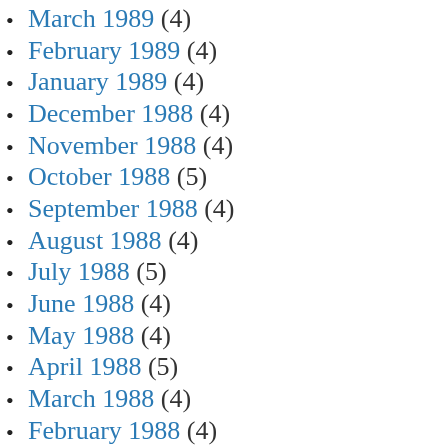March 1989 (4)
February 1989 (4)
January 1989 (4)
December 1988 (4)
November 1988 (4)
October 1988 (5)
September 1988 (4)
August 1988 (4)
July 1988 (5)
June 1988 (4)
May 1988 (4)
April 1988 (5)
March 1988 (4)
February 1988 (4)
January 1988 (4)
December 1987 (4)
November 1987 (4)